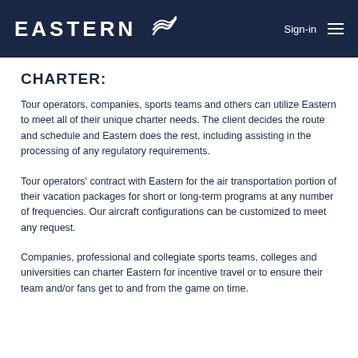EASTERN Sign-in
CHARTER:
Tour operators, companies, sports teams and others can utilize Eastern to meet all of their unique charter needs. The client decides the route and schedule and Eastern does the rest, including assisting in the processing of any regulatory requirements.
Tour operators' contract with Eastern for the air transportation portion of their vacation packages for short or long-term programs at any number of frequencies. Our aircraft configurations can be customized to meet any request.
Companies, professional and collegiate sports teams, colleges and universities can charter Eastern for incentive travel or to ensure their team and/or fans get to and from the game on time.